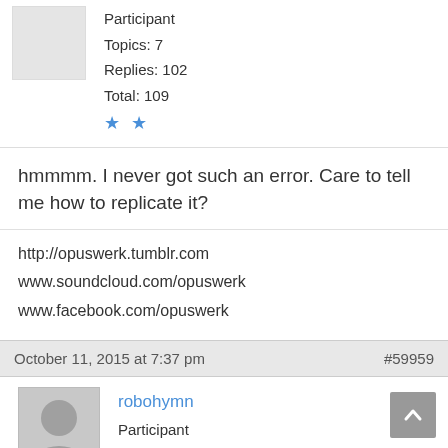Participant
Topics: 7
Replies: 102
Total: 109
★★
hmmmm. I never got such an error. Care to tell me how to replicate it?
http://opuswerk.tumblr.com
www.soundcloud.com/opuswerk
www.facebook.com/opuswerk
October 11, 2015 at 7:37 pm    #59959
robohymn
Participant
Topics: 0
Replies: 8
Total: 8
★
Hi opuswerk — I'm not sure if you're still interested in working on that panel, but I've got the same error. In 32-bit Ctrlr, I got